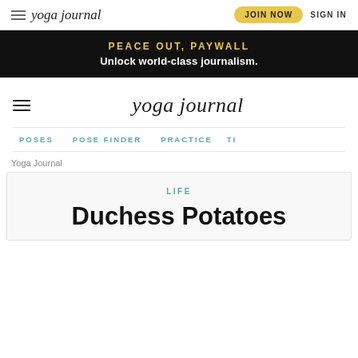yoga journal | JOIN NOW | SIGN IN
PEACE OUT, PAYWALL
Unlock world-class journalism.
yoga journal
POSES   POSE FINDER   PRACTICE   TI
Yoga Journal
LIFE
Duchess Potatoes